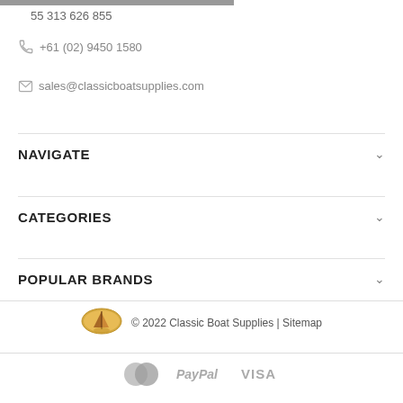55 313 626 855
+61 (02) 9450 1580
sales@classicboatsupplies.com
NAVIGATE
CATEGORIES
POPULAR BRANDS
© 2022 Classic Boat Supplies | Sitemap
[Figure (logo): Classic Boat Supplies oval logo with sailboat]
[Figure (logo): Payment icons: Mastercard, PayPal, Visa]